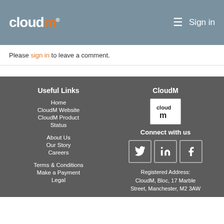cloudm® — Sign in
Please sign in to leave a comment.
Useful Links
Home
CloudM Website
CloudM Product Status
About Us
Our Story
Careers
Terms & Conditions
Make a Payment
Legal
CloudM
[Figure (logo): CloudM logo in white box]
Connect with us
[Figure (infographic): Social media icons: Twitter, LinkedIn, Facebook]
Registered Address: CloudM, Bloc, 17 Marble Street, Manchester, M2 3AW